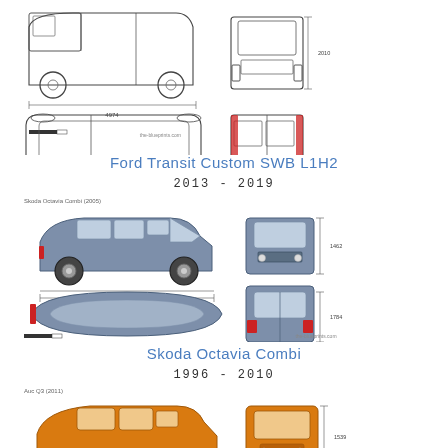[Figure (schematic): Ford Transit Custom SWB L1H2 blueprint — side, front, top, rear views with dimensions. Line drawing style, white background, red accents on rear door.]
Ford Transit Custom SWB L1H2
2013 - 2019
[Figure (schematic): Skoda Octavia Combi blueprint — side, front, top, rear views with dimensions. Colored rendering in blue-grey, red accents on rear lights.]
Skoda Octavia Combi
1996 - 2010
[Figure (schematic): Audi Q3 (2011) blueprint — side, front, top, rear views with dimensions. Colored rendering in orange/amber.]